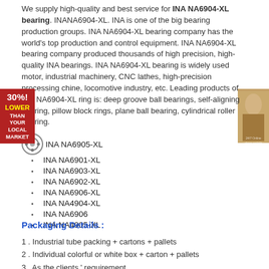We supply high-quality and best service for INA NA6904-XL bearing. INANA6904-XL. INA is one of the big bearing production groups. INA NA6904-XL bearing company has the world's top production and control equipment. INA NA6904-XL bearing company produced thousands of high precision, high-quality INA bearings. INA NA6904-XL bearing is widely used motor, industrial machinery, CNC lathes, high-precision processing chine, locomotive industry, etc. Leading products of INA NA6904-XL ring is: deep groove ball bearings, self-aligning bearing, pillow block rings, plane ball bearing, cylindrical roller bearing.
INA NA6905-XL
INA NA6901-XL
INA NA6903-XL
INA NA6902-XL
INA NA6906-XL
INA NA4904-XL
INA NA6906
INA NA4905-XL
Packaging Details :
1 . Industrial tube packing + cartons + pallets
2 . Individual colorful or white box + carton + pallets
3 . As the clients ' requirement